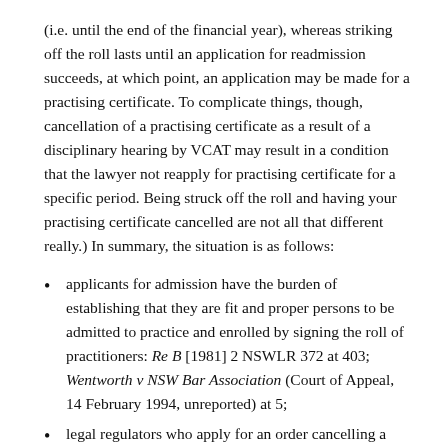(i.e. until the end of the financial year), whereas striking off the roll lasts until an application for readmission succeeds, at which point, an application may be made for a practising certificate. To complicate things, though, cancellation of a practising certificate as a result of a disciplinary hearing by VCAT may result in a condition that the lawyer not reapply for practising certificate for a specific period. Being struck off the roll and having your practising certificate cancelled are not all that different really.) In summary, the situation is as follows:
applicants for admission have the burden of establishing that they are fit and proper persons to be admitted to practice and enrolled by signing the roll of practitioners: Re B [1981] 2 NSWLR 372 at 403; Wentworth v NSW Bar Association (Court of Appeal, 14 February 1994, unreported) at 5;
legal regulators who apply for an order cancelling a